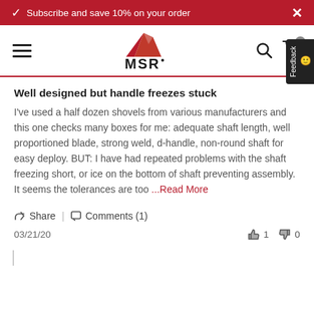Subscribe and save 10% on your order
[Figure (logo): MSR logo with red mountain peaks above MSR text]
Well designed but handle freezes stuck
I've used a half dozen shovels from various manufacturers and this one checks many boxes for me: adequate shaft length, well proportioned blade, strong weld, d-handle, non-round shaft for easy deploy. BUT: I have had repeated problems with the shaft freezing short, or ice on the bottom of shaft preventing assembly. It seems the tolerances are too ...Read More
Share | Comments (1)
03/21/20   👍 1  👎 0